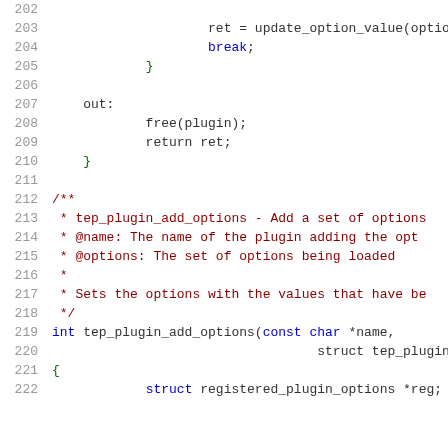Source code listing, lines 202-222, showing C function code with syntax highlighting. Lines include: ret = update_option_value(option..., break;, closing brace, out: label, free(plugin);, return ret;, closing brace, Doxygen comment block for tep_plugin_add_options, and start of int tep_plugin_add_options function definition.